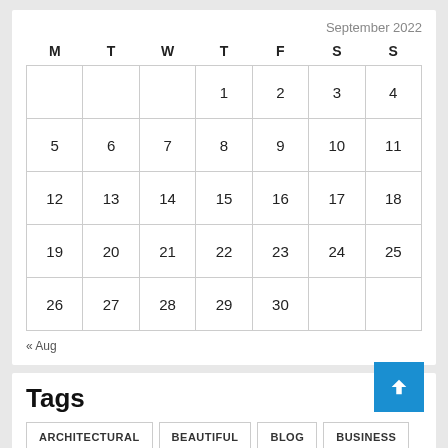| M | T | W | T | F | S | S |
| --- | --- | --- | --- | --- | --- | --- |
|  |  |  | 1 | 2 | 3 | 4 |
| 5 | 6 | 7 | 8 | 9 | 10 | 11 |
| 12 | 13 | 14 | 15 | 16 | 17 | 18 |
| 19 | 20 | 21 | 22 | 23 | 24 | 25 |
| 26 | 27 | 28 | 29 | 30 |  |  |
« Aug
Tags
ARCHITECTURAL  BEAUTIFUL  BLOG  BUSINESS